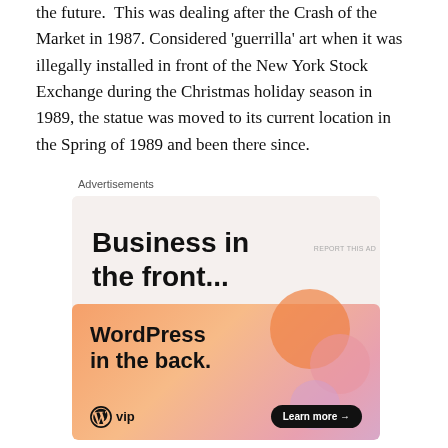the future.  This was dealing after the Crash of the Market in 1987. Considered 'guerrilla' art when it was illegally installed in front of the New York Stock Exchange during the Christmas holiday season in 1989, the statue was moved to its current location in the Spring of 1989 and been there since.
Advertisements
[Figure (other): Advertisement banner: 'Business in the front... WordPress in the back.' with WordPress VIP logo and 'Learn more' button on a gradient orange-pink background.]